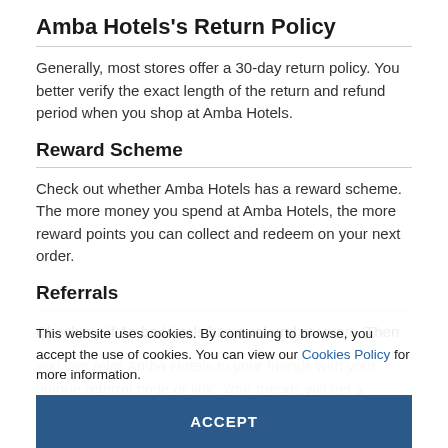Amba Hotels's Return Policy
Generally, most stores offer a 30-day return policy. You better verify the exact length of the return and refund period when you shop at Amba Hotels.
Reward Scheme
Check out whether Amba Hotels has a reward scheme. The more money you spend at Amba Hotels, the more reward points you can collect and redeem on your next order.
Referrals
Check out if Amba Hotels has a referral program. Then you can refer Amba Hotels to your friends with your unique referral code or link. Your friends will get a certain amount of points which you can use on your next purchase.
This website uses cookies. By continuing to browse, you accept the use of cookies. You can view our Cookies Policy for more information.